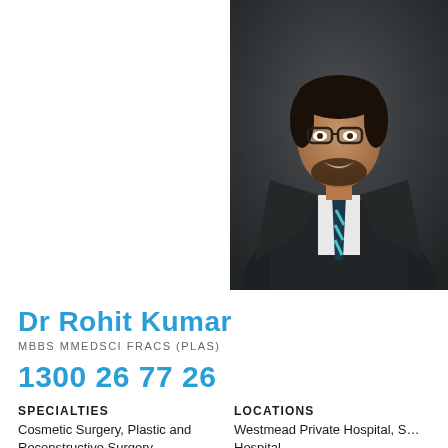[Figure (photo): Professional headshot of Dr Rohit Kumar wearing a dark suit and striped tie with glasses, smiling, against a dark textured background]
Dr Rohit Kumar
MBBS MMEDSCI FRACS (PLAS)
1300 26 77 26
SPECIALTIES
Cosmetic Surgery, Plastic and Reconstructive Surgery
LOCATIONS
Westmead Private Hospital, S… Hospital